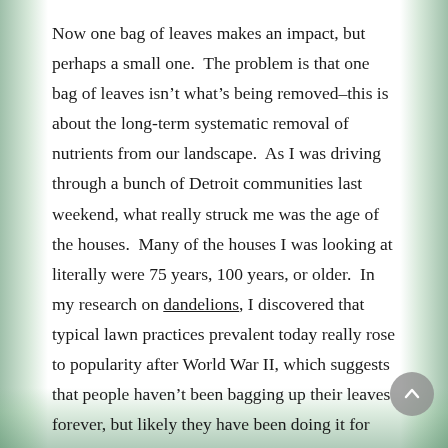Now one bag of leaves makes an impact, but perhaps a small one.  The problem is that one bag of leaves isn't what's being removed–this is about the long-term systematic removal of nutrients from our landscape.  As I was driving through a bunch of Detroit communities last weekend, what really struck me was the age of the houses.  Many of the houses I was looking at literally were 75 years, 100 years, or older.  In my research on dandelions, I discovered that typical lawn practices prevalent today really rose to popularity after World War II, which suggests that people haven't been bagging up their leaves forever, but likely they have been doing it for some time.  So let's assume that for the last 50 years, most citizens of